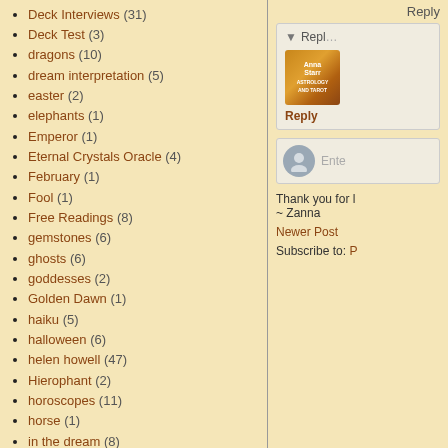Deck Interviews (31)
Deck Test (3)
dragons (10)
dream interpretation (5)
easter (2)
elephants (1)
Emperor (1)
Eternal Crystals Oracle (4)
February (1)
Fool (1)
Free Readings (8)
gemstones (6)
ghosts (6)
goddesses (2)
Golden Dawn (1)
haiku (5)
halloween (6)
helen howell (47)
Hierophant (2)
horoscopes (11)
horse (1)
in the dream (8)
Reply
Reply
Thank you for l...
~ Zanna
Newer Post
Subscribe to: P